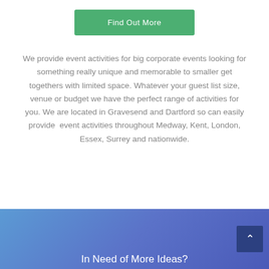[Figure (other): Green 'Find Out More' button]
We provide event activities for big corporate events looking for something really unique and memorable to smaller get togethers with limited space. Whatever your guest list size, venue or budget we have the perfect range of activities for you. We are located in Gravesend and Dartford so can easily provide event activities throughout Medway, Kent, London, Essex, Surrey and nationwide.
In Need of More Ideas?